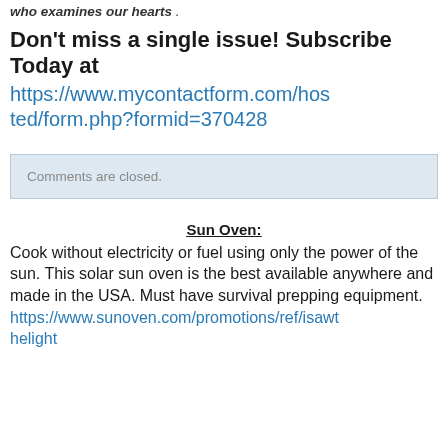who examines our hearts .
Don't miss a single issue! Subscribe Today at https://www.mycontactform.com/hosted/form.php?formid=370428
Comments are closed.
Sun Oven:
Cook without electricity or fuel using only the power of the sun. This solar sun oven is the best available anywhere and made in the USA. Must have survival prepping equipment. https://www.sunoven.com/promotions/ref/isawthelight